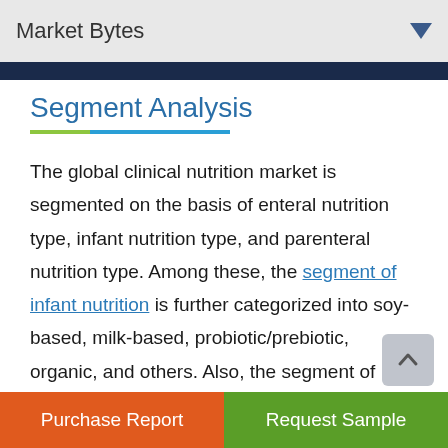Market Bytes
Segment Analysis
The global clinical nutrition market is segmented on the basis of enteral nutrition type, infant nutrition type, and parenteral nutrition type. Among these, the segment of infant nutrition is further categorized into soy-based, milk-based, probiotic/prebiotic, organic, and others. Also, the segment of enteral nutrition is classified into enteral and standard nutrition for chronic illnesses.
Purchase Report | Request Sample